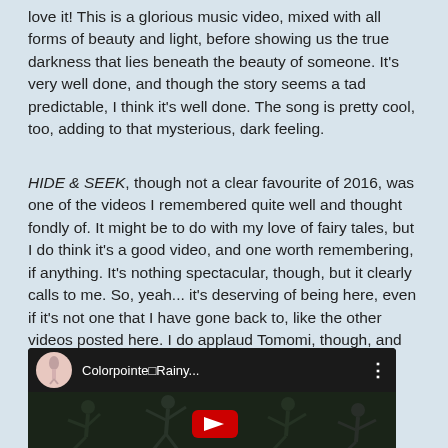love it! This is a glorious music video, mixed with all forms of beauty and light, before showing us the true darkness that lies beneath the beauty of someone. It's very well done, and though the story seems a tad predictable, I think it's well done. The song is pretty cool, too, adding to that mysterious, dark feeling.
HIDE & SEEK, though not a clear favourite of 2016, was one of the videos I remembered quite well and thought fondly of. It might be to do with my love of fairy tales, but I do think it's a good video, and one worth remembering, if anything. It's nothing spectacular, though, but it clearly calls to me. So, yeah... it's deserving of being here, even if it's not one that I have gone back to, like the other videos posted here. I do applaud Tomomi, though, and find great beauty in this haunting video.
[Figure (screenshot): YouTube video embed showing a music video thumbnail. Top bar shows a circular avatar with a ballerina/dancer image, channel name 'Colorpointe■Rainy...' in white text, and three-dot menu icon. The main video area shows dancers performing in a dark setting with a red YouTube play button in the center.]